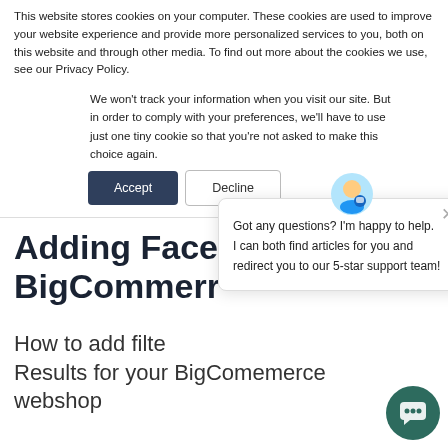This website stores cookies on your computer. These cookies are used to improve your website experience and provide more personalized services to you, both on this website and through other media. To find out more about the cookies we use, see our Privacy Policy.
We won't track your information when you visit our site. But in order to comply with your preferences, we'll have to use just one tiny cookie so that you're not asked to make this choice again.
Accept | Decline
Adding Face... BigCommerc...
How to add filte... Results for your BigComemerce webshop
Got any questions? I'm happy to help.
I can both find articles for you and redirect you to our 5-star support team!